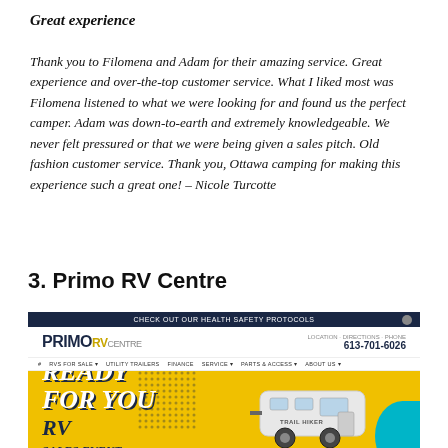Great experience
Thank you to Filomena and Adam for their amazing service. Great experience and over-the-top customer service. What I liked most was Filomena listened to what we were looking for and found us the perfect camper. Adam was down-to-earth and extremely knowledgeable. We never felt pressured or that we were being given a sales pitch. Old fashion customer service. Thank you, Ottawa camping for making this experience such a great one! – Nicole Turcotte
3. Primo RV Centre
[Figure (screenshot): Screenshot of the Primo RV Centre website showing the header with logo, phone number 613-701-6026, navigation bar, and a yellow and blue promotional banner reading 'READY FOR YOU RV SALES EVENT' with an image of a white travel trailer.]